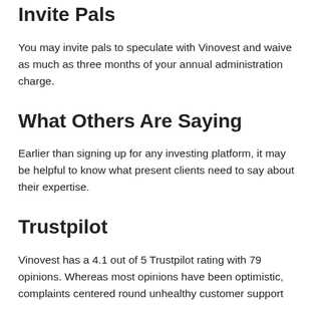Invite Pals
You may invite pals to speculate with Vinovest and waive as much as three months of your annual administration charge.
What Others Are Saying
Earlier than signing up for any investing platform, it may be helpful to know what present clients need to say about their expertise.
Trustpilot
Vinovest has a 4.1 out of 5 Trustpilot rating with 79 opinions. Whereas most opinions have been optimistic, complaints centered round unhealthy customer support and dissatisfactory returns.